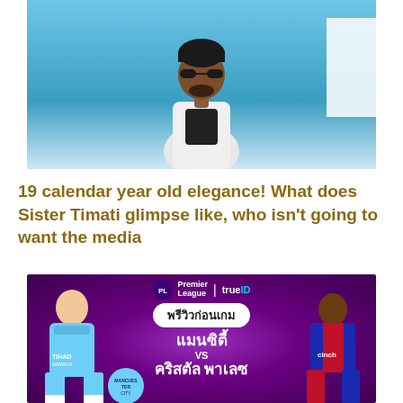[Figure (photo): Photo of a man wearing sunglasses, black hat, white jacket, standing against a blue background with a white rectangle on the right side]
19 calendar year old elegance! What does Sister Timati glimpse like, who isn't going to want the media
[Figure (photo): Premier League | trueID promotional banner showing a football match preview: Manchester City vs Crystal Palace (แมนซิตี้ vs คริสตัล พาเลซ) with player photos on left and right sides against purple gradient background with Thai text]